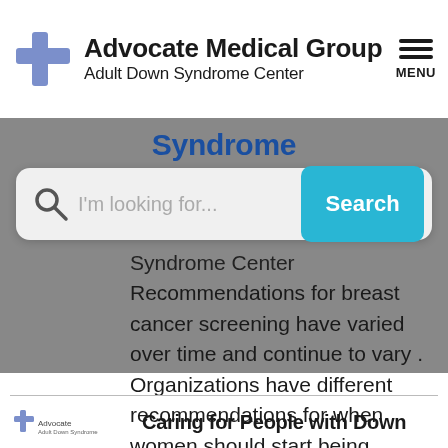[Figure (logo): Advocate Medical Group Adult Down Syndrome Center logo with blue cross icon]
[Figure (screenshot): Hamburger menu icon with MENU label]
Syndrome
[Figure (screenshot): Search bar with text 'I'm looking for...' and blue Search button]
Syndrome Center Recommendations for breast cancer screening have varied over time and continue to vary . Organizations have different recommendations for when women should start being screened for breast cancer and h
Caring for People with Down